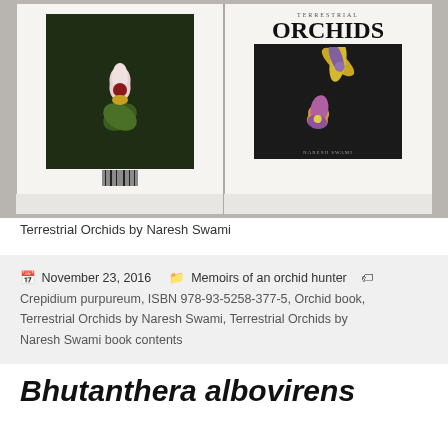[Figure (photo): Two books side by side showing front and back covers of 'Terrestrial Orchids by Naresh Swami'. Left book shows back cover with barcode and orchid image on dark green background. Right book shows front cover with title 'TERRESTRIAL ORCHIDS' and orchid illustrations on dark background with author name 'NARESH SWAMI'.]
Terrestrial Orchids by Naresh Swami
November 23, 2016   Memoirs of an orchid hunter   Crepidium purpureum, ISBN 978-93-5258-377-5, Orchid book, Terrestrial Orchids by Naresh Swami, Terrestrial Orchids by Naresh Swami book contents
Bhutanthera albovirens